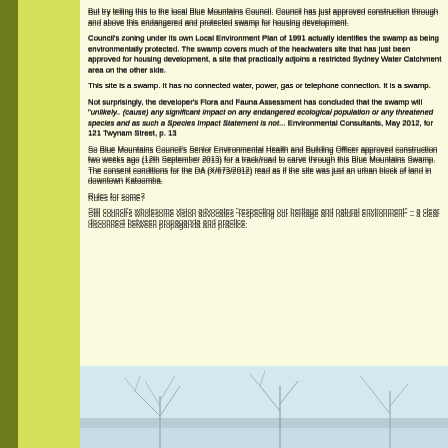But try telling this to the local Blue Mountains Council. Council has just approved construction through and above this endangered and protected swamp for housing development.
Council's zoning under its own Local Environment Plan of 1991 actually identifies the swamp as being environmentally protected. The swamp covers much of the headwaters site that has just been approved for housing development, a site that practically adjoins a restricted Sydney Water Catchment area on the other side.
This site is a swamp. It has no connected water, power, gas or telephone connection. It is a swamp.
Not surprisingly, the developer's Flora and Fauna Assessment has concluded that the swamp will "unlikely.. (cause) any significant impact on any endangered ecological population or any threatened species and as such a Species Impact Statement is not... Environmental Consultants, May 2012, for 121 Twynam Street, p. 13"
So Blue Mountains Council's Senior Environmental Health and Building Officer approved construction two weeks ago (12th September 2013) for a track/road to carve through this Blue Mountains Swamp. The consent conditions for the DA (X/673/2012) read as if the site was just an urban block of land in downtown Katoomba.
Rules for some?
Still council's wholesome vision advocates "respecting our heritage and natural environment" – a clear disconnect between propaganda and practice.
[Figure (photo): Photo of a swamp landscape with bare tree branches against a light sky and water/wetland area in the background]